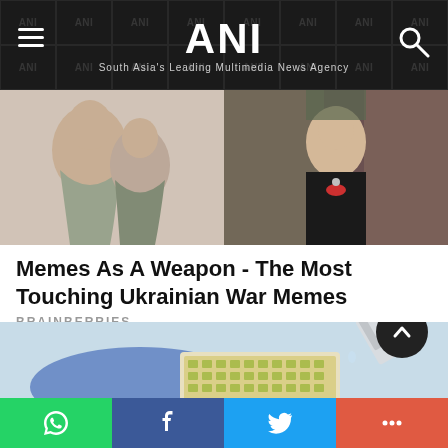ANI — South Asia's Leading Multimedia News Agency
[Figure (photo): Two article thumbnail images side by side: left shows a woman embracing someone, right shows a man in tuxedo with bow tie looking surprised]
Memes As A Weapon - The Most Touching Ukrainian War Memes
BRAINBERRIES
[Figure (photo): Close-up of a gloved hand holding a laboratory microplate/well plate filled with yellow-green liquid, with a pipette adding fluid from above]